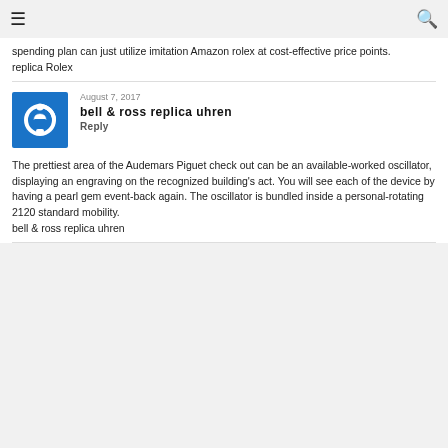☰  🔍
spending plan can just utilize imitation Amazon rolex at cost-effective price points.
replica Rolex
August 7, 2017
bell & ross replica uhren
Reply
The prettiest area of the Audemars Piguet check out can be an available-worked oscillator, displaying an engraving on the recognized building's act. You will see each of the device by having a pearl gem event-back again. The oscillator is bundled inside a personal-rotating 2120 standard mobility.
bell & ross replica uhren